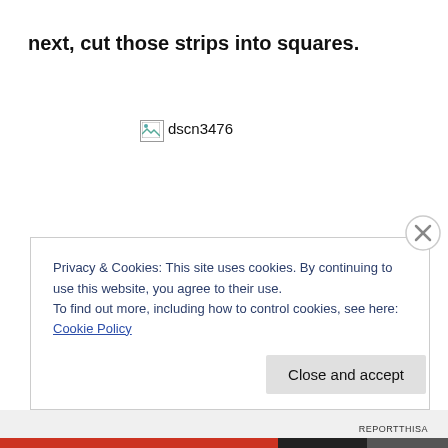next, cut those strips into squares.
[Figure (photo): Broken image placeholder labeled 'dscn3476']
Privacy & Cookies: This site uses cookies. By continuing to use this website, you agree to their use.
To find out more, including how to control cookies, see here: Cookie Policy
Close and accept